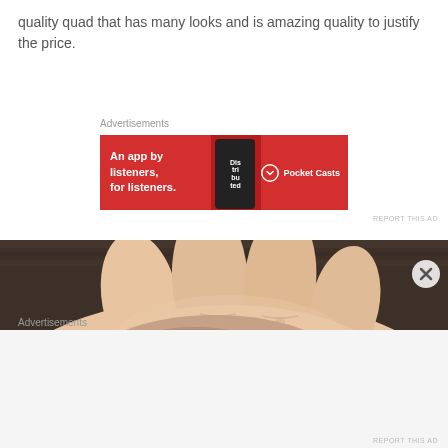quality quad that has many looks and is amazing quality to justify the price.
Advertisements
[Figure (photo): Red Pocket Casts advertisement banner: 'An app by listeners, for listeners.' with phone graphic and Pocket Casts logo on red background]
REPORT THIS AD
[Figure (photo): Close-up photo of a hand with brown eye shadow swatched on the back of the hand, showing skin texture against a dark wooden background]
Advertisements
REPORT THIS AD